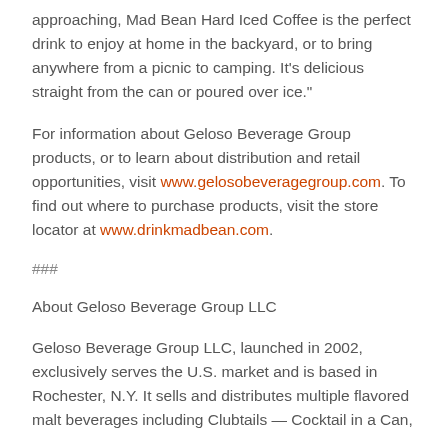approaching, Mad Bean Hard Iced Coffee is the perfect drink to enjoy at home in the backyard, or to bring anywhere from a picnic to camping. It's delicious straight from the can or poured over ice."
For information about Geloso Beverage Group products, or to learn about distribution and retail opportunities, visit www.gelosobeveragegroup.com. To find out where to purchase products, visit the store locator at www.drinkmadbean.com.
###
About Geloso Beverage Group LLC
Geloso Beverage Group LLC, launched in 2002, exclusively serves the U.S. market and is based in Rochester, N.Y. It sells and distributes multiple flavored malt beverages including Clubtails — Cocktail in a Can,